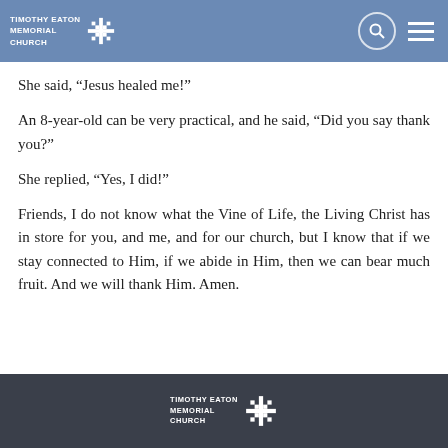TIMOTHY EATON MEMORIAL CHURCH
She said, “Jesus healed me!”
An 8-year-old can be very practical, and he said, “Did you say thank you?”
She replied, “Yes, I did!”
Friends, I do not know what the Vine of Life, the Living Christ has in store for you, and me, and for our church, but I know that if we stay connected to Him, if we abide in Him, then we can bear much fruit. And we will thank Him. Amen.
TIMOTHY EATON MEMORIAL CHURCH